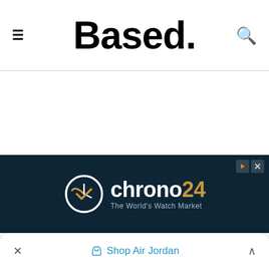≡  Based.  🔍
Source link
[Figure (other): Chrono24 advertisement banner — dark navy background with Chrono24 logo (clock icon in white/gold) and text 'chrono24' with 'The World's Watch Market' subtitle]
× Shop Air Jordan ∧